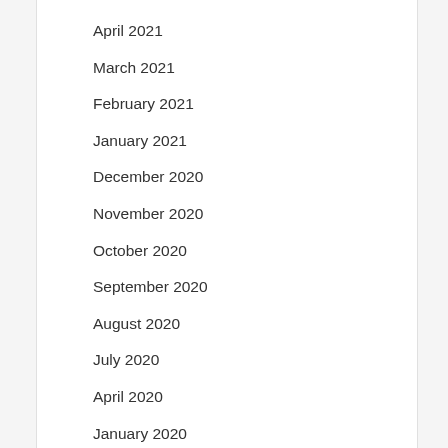April 2021
March 2021
February 2021
January 2021
December 2020
November 2020
October 2020
September 2020
August 2020
July 2020
April 2020
January 2020